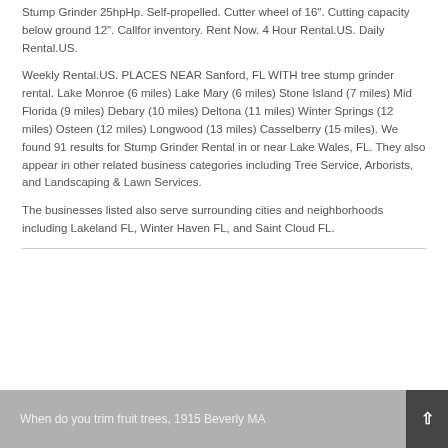Stump Grinder 25hpHp. Self-propelled. Cutter wheel of 16". Cutting capacity below ground 12". Callfor inventory. Rent Now. 4 Hour Rental.US. Daily Rental.US.
Weekly Rental.US. PLACES NEAR Sanford, FL WITH tree stump grinder rental. Lake Monroe (6 miles) Lake Mary (6 miles) Stone Island (7 miles) Mid Florida (9 miles) Debary (10 miles) Deltona (11 miles) Winter Springs (12 miles) Osteen (12 miles) Longwood (13 miles) Casselberry (15 miles). We found 91 results for Stump Grinder Rental in or near Lake Wales, FL. They also appear in other related business categories including Tree Service, Arborists, and Landscaping & Lawn Services.
The businesses listed also serve surrounding cities and neighborhoods including Lakeland FL, Winter Haven FL, and Saint Cloud FL.
When do you trim fruit trees, 1915 Beverly MA